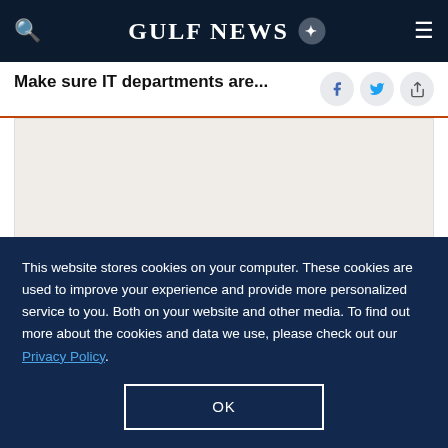GULF NEWS
Make sure IT departments are...
[Figure (other): Advertisement or image placeholder, light beige background]
A special division handles information security...
This website stores cookies on your computer. These cookies are used to improve your experience and provide more personalized service to you. Both on your website and other media. To find out more about the cookies and data we use, please check out our Privacy Policy.